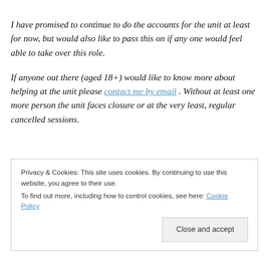I have promised to continue to do the accounts for the unit at least for now, but would also like to pass this on if any one would feel able to take over this role.
If anyone out there (aged 18+) would like to know more about helping at the unit please contact me by email . Without at least one more person the unit faces closure or at the very least, regular cancelled sessions.
Privacy & Cookies: This site uses cookies. By continuing to use this website, you agree to their use. To find out more, including how to control cookies, see here: Cookie Policy
Close and accept